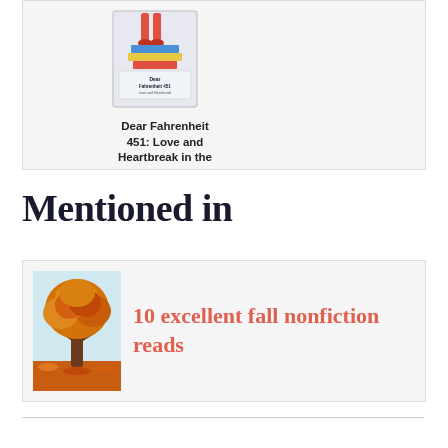[Figure (illustration): Book cover of 'Dear Fahrenheit 451' showing stylized illustration with red legs, books, and colorful design]
Dear Fahrenheit 451: Love and Heartbreak in the
Mentioned in
[Figure (photo): Photo of a fall tree with orange and golden leaves against a light sky, with fallen leaves on the ground]
10 excellent fall nonfiction reads